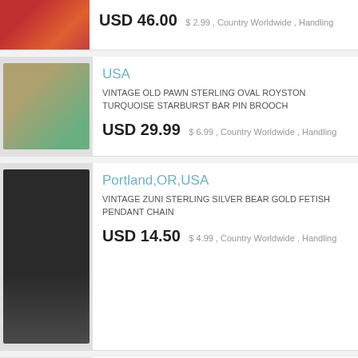USD 46.00  $2.99 , Country Worldwide , Handling
USA
VINTAGE OLD PAWN STERLING OVAL ROYSTON TURQUOISE STARBURST BAR PIN BROOCH
USD 29.99  $6.99 , Country Worldwide , Handling
Portland,OR,USA
VINTAGE ZUNI STERLING SILVER BEAR GOLD FETISH PENDANT CHAIN
USD 14.50  $4.99 , Country Worldwide , Handling
San Antonio,TX,USA
WOW! STERLING OVERLAY INDIAN DANCER NAVAJO BRACELET CUFF SIGNED CHARLES JOHNSON
USD 204.50  , Country Worldwide , Handling Time 2